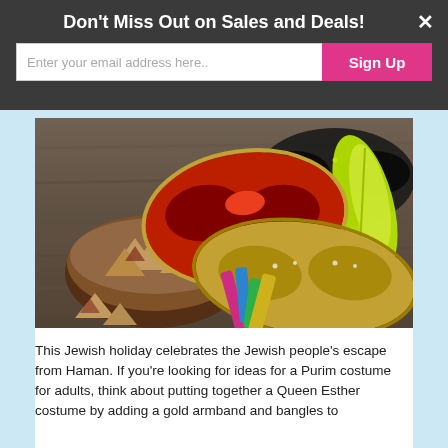Don't Miss Out on Sales and Deals!
Enter your email address here..
Sign Up
[Figure (photo): Purim holiday items: decorative masquerade masks (red and gold with yellow feathers) and a wooden bowl filled with hamantaschen cookies, scattered on a wooden table surface with colorful noisemakers]
This Jewish holiday celebrates the Jewish people's escape from Haman. If you're looking for ideas for a Purim costume for adults, think about putting together a Queen Esther costume by adding a gold armband and bangles to